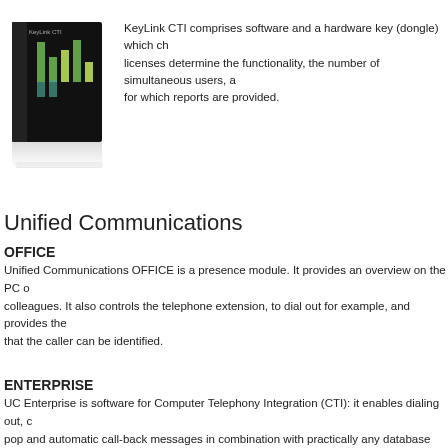[Figure (illustration): Product box image for KeyLink CTI software, dark background with stacked green/yellow bar chart graphics on the box cover]
KeyLink CTI comprises software and a hardware key (dongle) which ch... licenses determine the functionality, the number of simultaneous users, a... for which reports are provided.
Unified Communications
OFFICE
Unified Communications OFFICE is a presence module. It provides an overview on the PC o... colleagues. It also controls the telephone extension, to dial out for example, and provides the... that the caller can be identified.
ENTERPRISE
UC Enterprise is software for Computer Telephony Integration (CTI): it enables dialing out, c... pop and automatic call-back messages in combination with practically any database and CRM... the ENTERPRISE license includes all the UC OFFICE functions, such as presence details on...